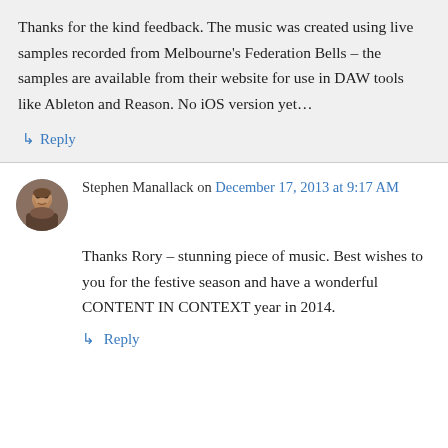Thanks for the kind feedback. The music was created using live samples recorded from Melbourne's Federation Bells – the samples are available from their website for use in DAW tools like Ableton and Reason. No iOS version yet…
↳ Reply
Stephen Manallack on December 17, 2013 at 9:17 AM
Thanks Rory – stunning piece of music. Best wishes to you for the festive season and have a wonderful CONTENT IN CONTEXT year in 2014.
↳ Reply